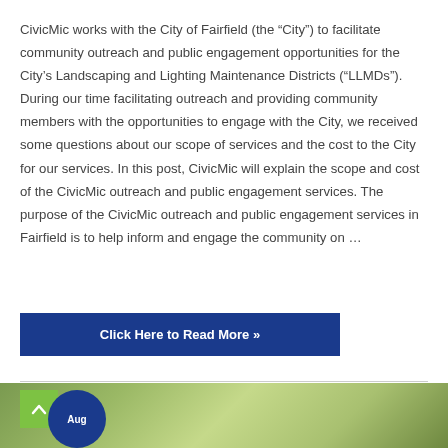CivicMic works with the City of Fairfield (the “City”) to facilitate community outreach and public engagement opportunities for the City’s Landscaping and Lighting Maintenance Districts (“LLMDs”). During our time facilitating outreach and providing community members with the opportunities to engage with the City, we received some questions about our scope of services and the cost to the City for our services. In this post, CivicMic will explain the scope and cost of the CivicMic outreach and public engagement services. The purpose of the CivicMic outreach and public engagement services in Fairfield is to help inform and engage the community on …
Click Here to Read More »
[Figure (photo): Blurred green nature/grass background photo with a circular dark blue badge showing 'Aug' text]